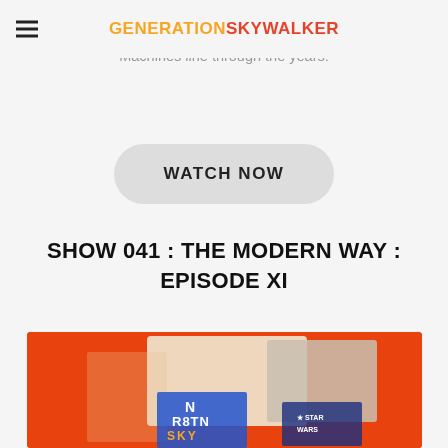GENERATIONSKYWALKER
features video footage of The Sounds of Star Wars book and a whole bunch of digitally enhanced shots of the Micro Machines line through the years.
WATCH NOW
SHOW 041 : THE MODERN WAY : EPISODE XI
[Figure (photo): Orange background promotional image for Generation Skywalker podcast Episode XI featuring Star Wars action figures including a rabbit-like alien character holding a gun, a hooded figure, and various Star Wars collectibles and merchandise with text overlaid]